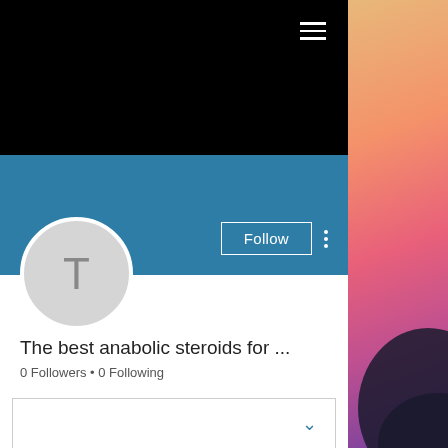[Figure (screenshot): Black navigation header bar with white hamburger menu icon in top right corner]
[Figure (screenshot): Blue profile banner with Follow button and three-dot menu on right side, circular avatar with letter T on left]
The best anabolic steroids for ...
0 Followers • 0 Following
[Figure (screenshot): Dropdown/filter box with chevron icon]
Profile
Join date: May 16, 2022